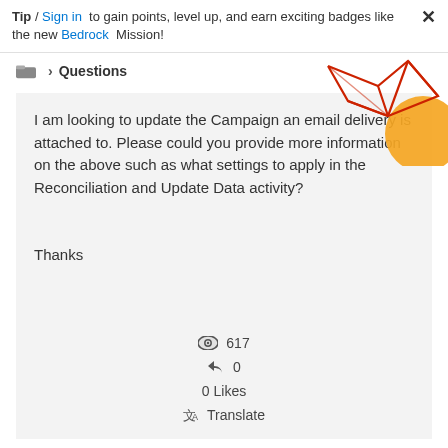Tip / Sign in to gain points, level up, and earn exciting badges like the new Bedrock Mission!
Questions
[Figure (illustration): Decorative geometric graphic with red polygon lines and orange circle shapes in the top-right corner]
I am looking to update the Campaign an email delivery is attached to. Please could you provide more information on the above such as what settings to apply in the Reconciliation and Update Data activity?


Thanks
617
0
0 Likes
Translate